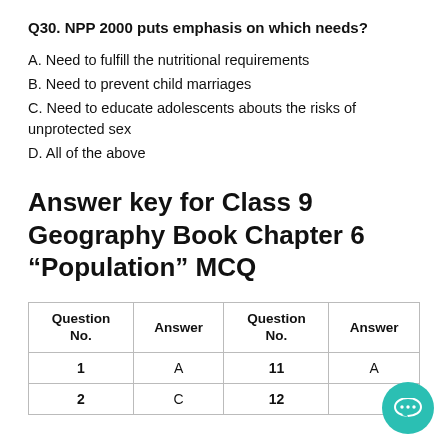Q30. NPP 2000 puts emphasis on which needs?
A. Need to fulfill the nutritional requirements
B. Need to prevent child marriages
C. Need to educate adolescents abouts the risks of unprotected sex
D. All of the above
Answer key for Class 9 Geography Book Chapter 6 “Population” MCQ
| Question No. | Answer | Question No. | Answer |
| --- | --- | --- | --- |
| 1 | A | 11 | A |
| 2 | C | 12 |  |